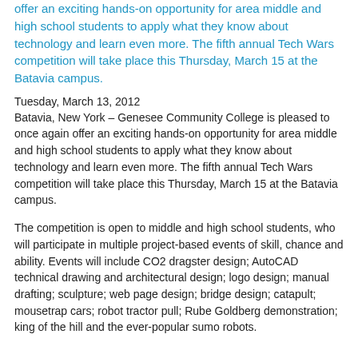offer an exciting hands-on opportunity for area middle and high school students to apply what they know about technology and learn even more. The fifth annual Tech Wars competition will take place this Thursday, March 15 at the Batavia campus.
Tuesday, March 13, 2012
Batavia, New York – Genesee Community College is pleased to once again offer an exciting hands-on opportunity for area middle and high school students to apply what they know about technology and learn even more. The fifth annual Tech Wars competition will take place this Thursday, March 15 at the Batavia campus.
The competition is open to middle and high school students, who will participate in multiple project-based events of skill, chance and ability. Events will include CO2 dragster design; AutoCAD technical drawing and architectural design; logo design; manual drafting; sculpture; web page design; bridge design; catapult; mousetrap cars; robot tractor pull; Rube Goldberg demonstration; king of the hill and the ever-popular sumo robots.